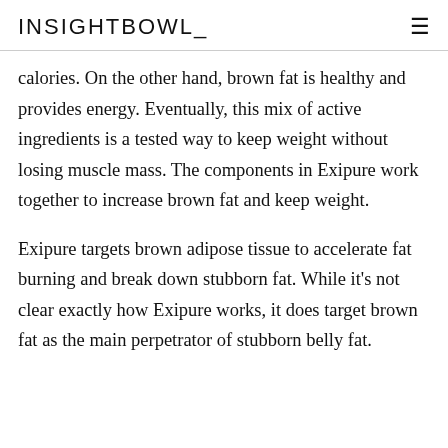INSIGHTBOWL
calories. On the other hand, brown fat is healthy and provides energy. Eventually, this mix of active ingredients is a tested way to keep weight without losing muscle mass. The components in Exipure work together to increase brown fat and keep weight.
Exipure targets brown adipose tissue to accelerate fat burning and break down stubborn fat. While it's not clear exactly how Exipure works, it does target brown fat as the main perpetrator of stubborn belly fat.